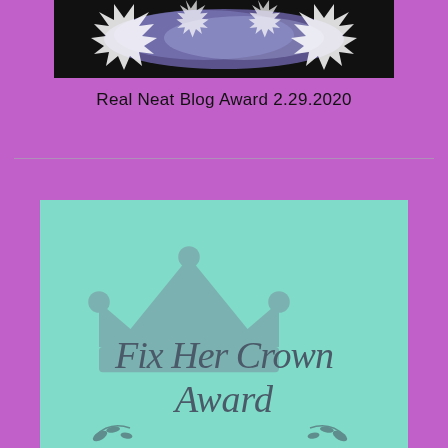[Figure (illustration): Top banner image with a black background and watercolor-style art with jagged white/purple snowflake-like shapes]
Real Neat Blog Award 2.29.2020
[Figure (illustration): Fix Her Crown Award image: mint/teal green background with a grey crown icon and cursive text reading 'Fix Her Crown Award' with decorative leaf/flourish elements at the bottom]